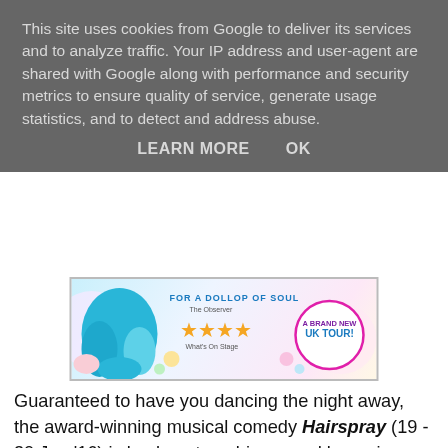This site uses cookies from Google to deliver its services and to analyze traffic. Your IP address and user-agent are shared with Google along with performance and security metrics to ensure quality of service, generate usage statistics, and to detect and address abuse.
LEARN MORE    OK
[Figure (other): Hairspray musical UK tour advertisement showing blue wig, 4 stars rated by The Observer and What's On Stage, with a pink circular badge reading 'A Brand New UK Tour!']
Guaranteed to have you dancing the night away, the award-winning musical comedy Hairspray (19 - 30 Jan '16) is back on tour, bigger and bouncier than ever! Starring Tony Maudsley (ITV1's Benidorm) as Edna Turnblad, Claire Sweeney (Educating Rita, Chicago) as Velma Von Tussle, PeterDuncan (BBC1's Tumble) as Wilbur Turnblad, and Brenda Edwards (Chicago, We Will